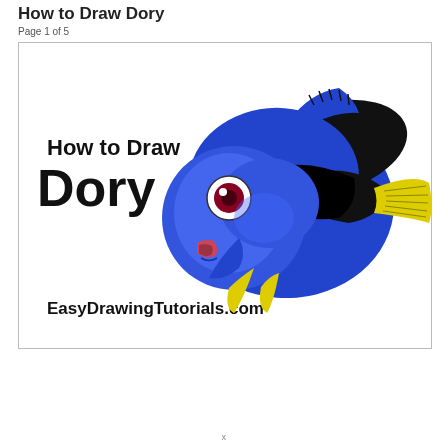How to Draw Dory
Page 1 of 5
[Figure (illustration): Illustration of Dory the fish character from Finding Nemo/Dory, shown as a blue tang fish with a black pattern on its back, yellow tail and fins. Text on image reads 'How to Draw Dory' and 'EasyDrawingTutorials.com' on a white background.]
· · · · · · · · · · · · · · · · · · · · · · · · · · · · · · · · · · · · · · · · ·